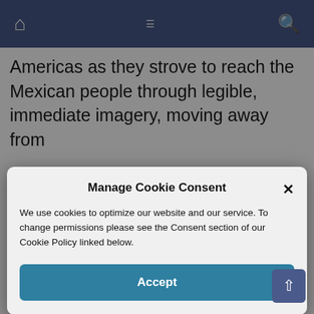[Figure (screenshot): Navigation bar with home icon, hamburger menu icon, and search icon on dark blue/slate background]
Americas as they strove to reach the Mexican people through legible, immediate imagery, moving away from
Manage Cookie Consent
We use cookies to optimize our website and our service. To change permissions please see the Consent section of our Cookie Policy linked below.
Accept
[Figure (photo): Painting of white calla lilies with golden/orange centers on a dark background, in a golden frame]